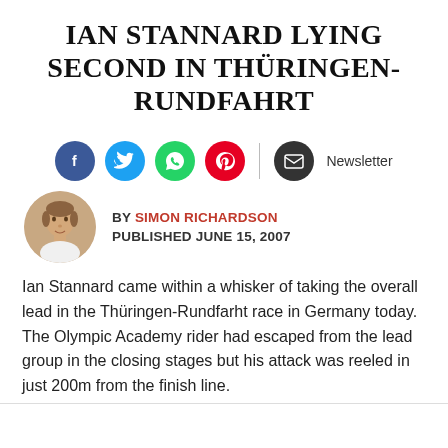IAN STANNARD LYING SECOND IN THÜRINGEN-RUNDFAHRT
[Figure (other): Social sharing buttons: Facebook, Twitter, WhatsApp, Pinterest, Email/Newsletter]
[Figure (photo): Circular author headshot of Simon Richardson, a young man in a white shirt]
BY SIMON RICHARDSON
PUBLISHED JUNE 15, 2007
Ian Stannard came within a whisker of taking the overall lead in the Thüringen-Rundfarht race in Germany today. The Olympic Academy rider had escaped from the lead group in the closing stages but his attack was reeled in just 200m from the finish line.